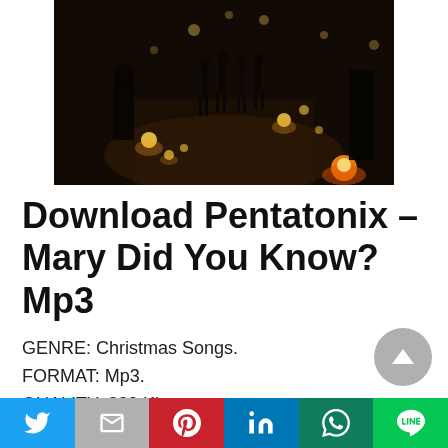[Figure (photo): Dark nighttime outdoor scene with people standing in a pathway lit by warm candle/lantern lights on the ground. Figures visible in silhouette with bokeh lights in background.]
Download Pentatonix – Mary Did You Know? Mp3
GENRE: Christmas Songs.
FORMAT: Mp3.
QUALITY: 320 Kbps.
YEAR: 2021.
Twitter | Gmail | Pinterest | LinkedIn | WhatsApp | LINE